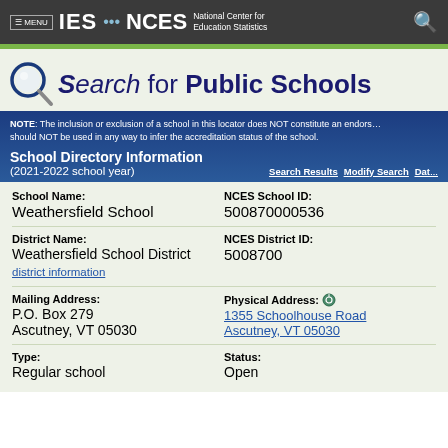≡ MENU  IES · NCES  National Center for Education Statistics
Search for Public Schools
NOTE: The inclusion or exclusion of a school in this locator does NOT constitute an endorsement and should NOT be used in any way to infer the accreditation status of the school.
School Directory Information (2021-2022 school year)
School Name: Weathersfield School
NCES School ID: 500870000536
District Name: Weathersfield School District
NCES District ID: 5008700
Mailing Address: P.O. Box 279 Ascutney, VT 05030
Physical Address: 1355 Schoolhouse Road Ascutney, VT 05030
Type: Regular school
Status: Open